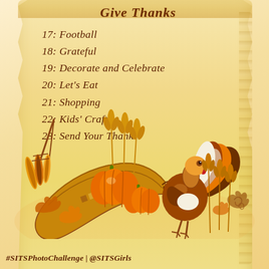Give Thanks
17: Football
18: Grateful
19: Decorate and Celebrate
20: Let's Eat
21: Shopping
22: Kids' Crafts
23: Send Your Thanks
[Figure (illustration): Thanksgiving illustration with a cornucopia, pumpkins, wheat stalks, autumn leaves, and a turkey]
#SITSPhotoChallenge | @SITSGirls